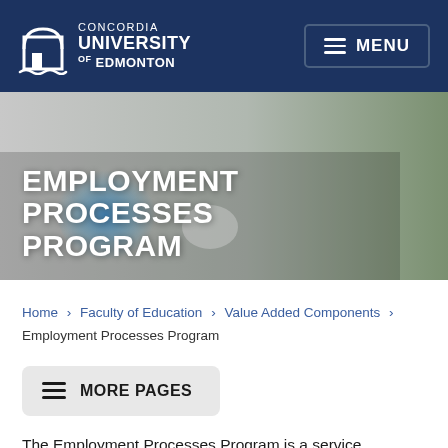Concordia University of Edmonton — MENU
EMPLOYMENT PROCESSES PROGRAM
Home › Faculty of Education › Value Added Components › Employment Processes Program
MORE PAGES
The Employment Processes Program is a service